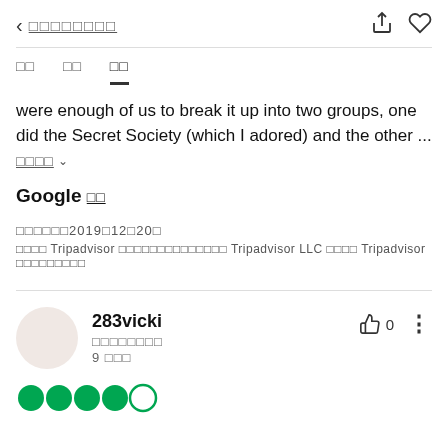< □□□□□□□□
□□  □□  □□
were enough of us to break it up into two groups, one did the Secret Society (which I adored) and the other ...
□□□□ ∨
Google □□
□□□□□□2019□12□20□
□□□□ Tripadvisor □□□□□□□□□□□□□□ Tripadvisor LLC □□□□ Tripadvisor □□□□□□□□□
283vicki
□□□□□□□□
9 □□□
[Figure (other): Star rating: 4 out of 5 green circles]